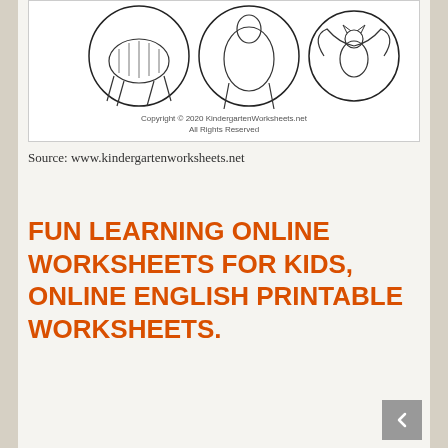[Figure (illustration): A partial view of a kindergarten worksheet showing animal illustrations inside circles, with a copyright notice reading 'Copyright © 2020 KindergartenWorksheets.net All Rights Reserved' at the bottom of the worksheet image.]
Source: www.kindergartenworksheets.net
FUN LEARNING ONLINE WORKSHEETS FOR KIDS, ONLINE ENGLISH PRINTABLE WORKSHEETS.